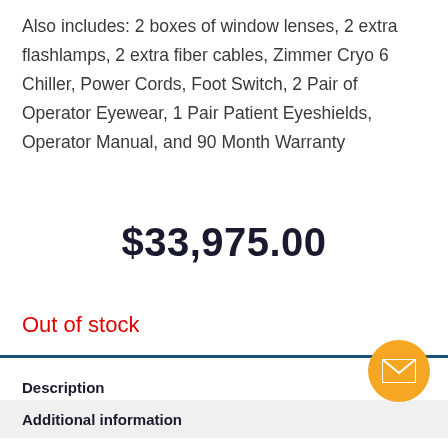Also includes: 2 boxes of window lenses, 2 extra flashlamps, 2 extra fiber cables, Zimmer Cryo 6 Chiller, Power Cords, Foot Switch, 2 Pair of Operator Eyewear, 1 Pair Patient Eyeshields, Operator Manual, and 90 Month Warranty
$33,975.00
Out of stock
Description
Additional information